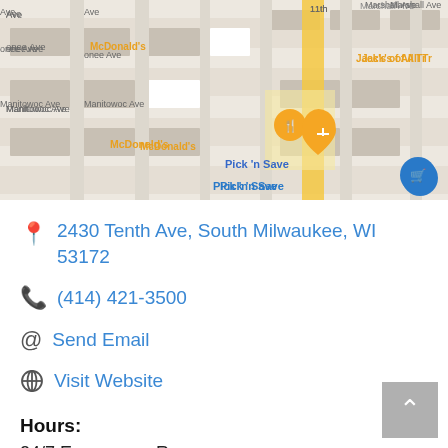[Figure (map): Google Maps screenshot showing area near South Milwaukee, WI with McDonald's, Pick 'n Save, Eaton's Cooper Power System, and Jack's of All Tr visible. A yellow highlighted route runs through the center.]
2430 Tenth Ave, South Milwaukee, WI 53172
(414) 421-3500
Send Email
Visit Website
Hours:
24/7 Emergency Response
About Us
Like It Never Even Happened